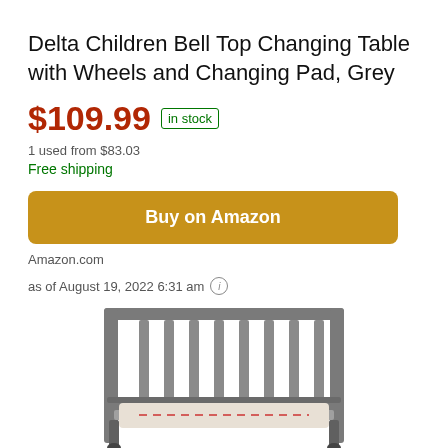Delta Children Bell Top Changing Table with Wheels and Changing Pad, Grey
$109.99 in stock
1 used from $83.03
Free shipping
Buy on Amazon
Amazon.com
as of August 19, 2022 6:31 am
[Figure (photo): Grey wooden changing table with slatted back and sides, mattress pad visible, partial view cropped at bottom of page]